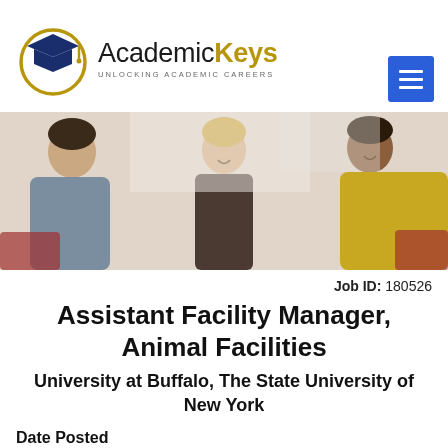[Figure (logo): AcademicKeys logo with graduation cap icon and tagline 'UNLOCKING ACADEMIC CAREERS']
[Figure (photo): Banner photo of three people (students/professionals) smiling and looking at something together in a bright setting]
Job ID: 180526
Assistant Facility Manager, Animal Facilities
University at Buffalo, The State University of New York
Date Posted